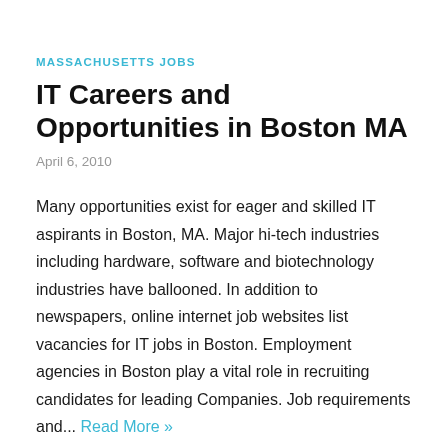MASSACHUSETTS JOBS
IT Careers and Opportunities in Boston MA
April 6, 2010
Many opportunities exist for eager and skilled IT aspirants in Boston, MA. Major hi-tech industries including hardware, software and biotechnology industries have ballooned. In addition to newspapers, online internet job websites list vacancies for IT jobs in Boston. Employment agencies in Boston play a vital role in recruiting candidates for leading Companies. Job requirements and... Read More »